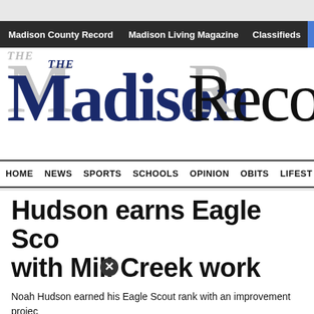Madison County Record   Madison Living Magazine   Classifieds   Public N
THE Madison Record
HOME   NEWS   SPORTS   SCHOOLS   OPINION   OBITS   LIFEST
Hudson earns Eagle Scout with Mill Creek work
Noah Hudson earned his Eagle Scout rank with an improvement project at Mill Creek Elementary School.
For his service project, Hudson built six scarecrow posts and several b... the stone pathway at Mill Creek's Giving Garden.